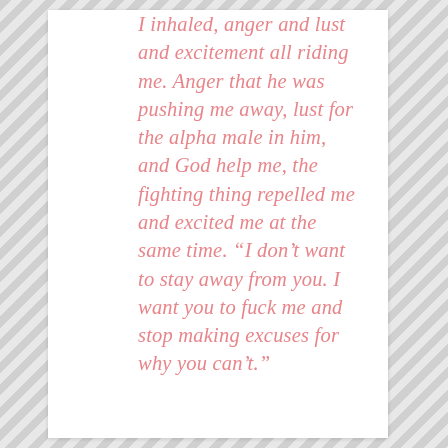I inhaled, anger and lust and excitement all riding me. Anger that he was pushing me away, lust for the alpha male in him, and God help me, the fighting thing repelled me and excited me at the same time. “I don’t want to stay away from you. I want you to fuck me and stop making excuses for why you can’t.”